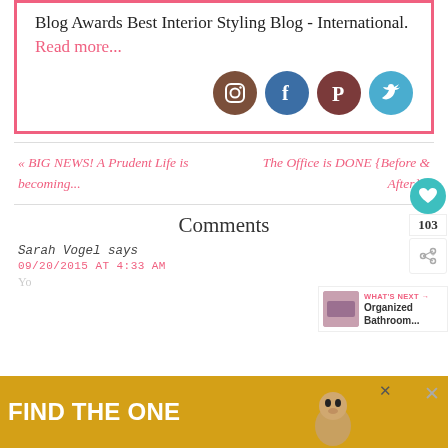Blog Awards Best Interior Styling Blog - International. Read more...
[Figure (illustration): Four social media icons in circles: Instagram (brown), Facebook (blue), Pinterest (brown-red), Twitter (light blue)]
« BIG NEWS! A Prudent Life is becoming...
The Office is DONE {Before & After} »
Comments
Sarah Vogel says
09/20/2015 AT 4:33 AM
[Figure (infographic): Heart/like button showing 103 likes and a share button]
[Figure (screenshot): What's Next widget showing Organized Bathroom... with thumbnail]
[Figure (illustration): Ad banner: FIND THE ONE with dog image on gold background]